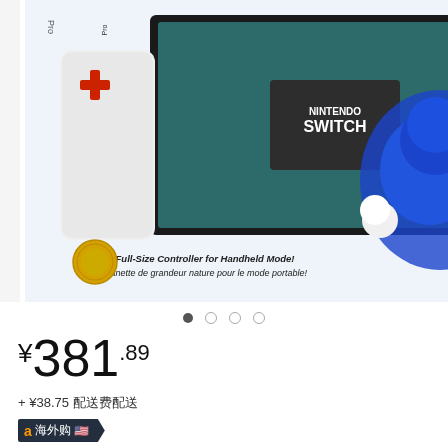[Figure (photo): Nintendo Switch Sonic the Hedgehog HORI Split Pad Pro controller product box photo, showing the controller attached to a Switch console and the box packaging.]
¥381.89
+ ¥38.75 配送费
海外购
数量 (共1件库存):